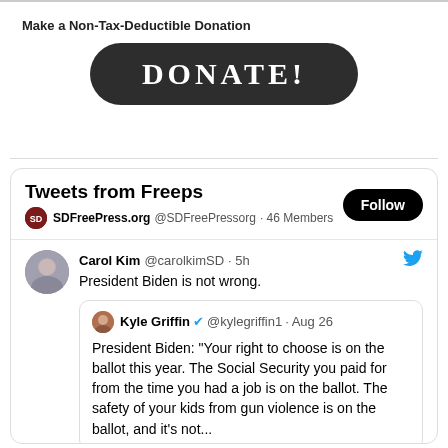Make a Non-Tax-Deductible Donation
[Figure (other): Dark rounded rectangle button with white serif text reading DONATE!]
Tweets from Freeps
SDFreePress.org @SDFreePressorg · 46 Members
Carol Kim @carolkimSD · 5h
President Biden is not wrong.
Kyle Griffin @kylegriffin1 · Aug 26
President Biden: "Your right to choose is on the ballot this year. The Social Security you paid for from the time you had a job is on the ballot. The safety of your kids from gun violence is on the ballot, and it's not...